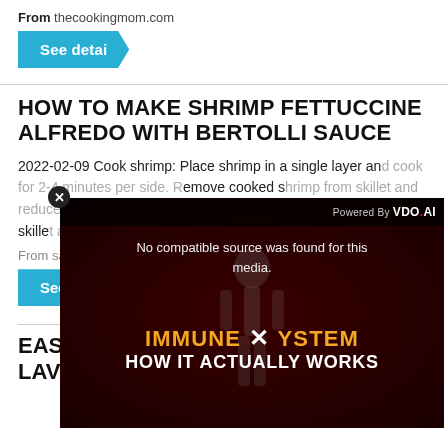From thecookingmom.com
See detai
HOW TO MAKE SHRIMP FETTUCCINE ALFREDO WITH BERTOLLI SAUCE
2022-02-09 Cook shrimp: Place shrimp in a single layer and cook for 2-4 minutes per side. Remove cooked shrimp from skillet and reduce heat to low. Add Cauliflower... the skillet an... skillet an...
From sa...
See d...
[Figure (screenshot): Video player overlay showing 'No compatible source was found for this media.' message with an Immune System educational video thumbnail in dark red background. Powered By VDO.AI branding in top right. Close button (x) top left.]
EASY SH... LAVENDER